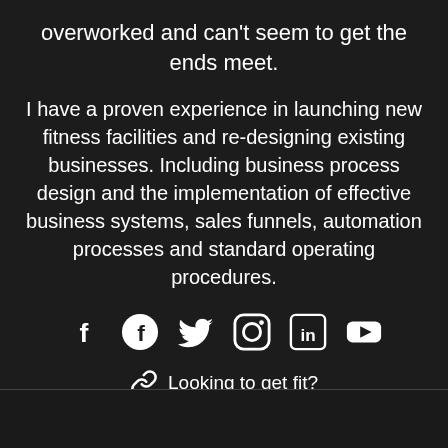overworked and can't seem to get the ends meet.
I have a proven experience in launching new fitness facilities and re-designing existing businesses. Including business process design and the implementation of effective business systems, sales funnels, automation processes and standard operating procedures.
[Figure (infographic): Row of 6 social media icons: Facebook (f), Facebook (circle), Twitter, Instagram, LinkedIn, YouTube]
🔗 Looking to get fit?